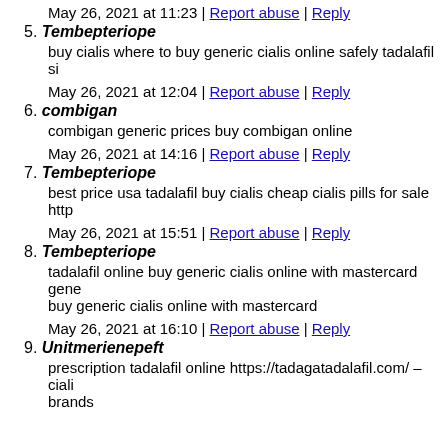May 26, 2021 at 11:23 | Report abuse | Reply
5. Tembepteriope
buy cialis where to buy generic cialis online safely tadalafil si…
May 26, 2021 at 12:04 | Report abuse | Reply
6. combigan
combigan generic prices buy combigan online
May 26, 2021 at 14:16 | Report abuse | Reply
7. Tembepteriope
best price usa tadalafil buy cialis cheap cialis pills for sale http…
May 26, 2021 at 15:51 | Report abuse | Reply
8. Tembepteriope
tadalafil online buy generic cialis online with mastercard gene… buy generic cialis online with mastercard
May 26, 2021 at 16:10 | Report abuse | Reply
9. Unitmerienepeft
prescription tadalafil online https://tadagatadalafil.com/ – ciali… brands